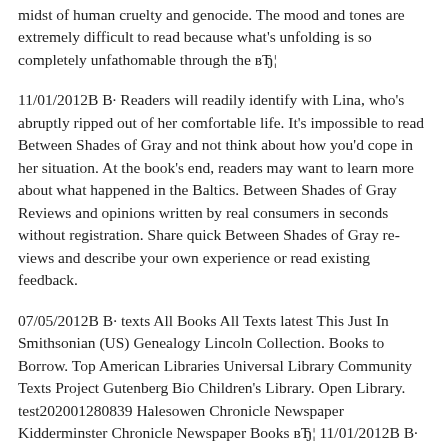midst of human cruelty and genocide. The mood and tones are extremely difficult to read because what's unfolding is so completely unfathomable through the вЂ¦
11/01/2012В В· Readers will readily identify with Lina, who's abruptly ripped out of her comfortable life. It's impossible to read Between Shades of Gray and not think about how you'd cope in her situation. At the book's end, readers may want to learn more about what happened in the Baltics. Between Shades of Gray Reviews and opinions written by real consumers in seconds without registration. Share quick Between Shades of Gray reviews and describe your own experience or read existing feedback.
07/05/2012В В· texts All Books All Texts latest This Just In Smithsonian (US) Genealogy Lincoln Collection. Books to Borrow. Top American Libraries Universal Library Community Texts Project Gutenberg Bio Children's Library. Open Library. test202001280839 Halesowen Chronicle Newspaper Kidderminster Chronicle Newspaper Books вЂ¦ 11/01/2012В В· Readers will readily identify with Lina, who's abruptly ripped out of her comfortable life. It's impossible to read Between Shades of Gray and not think about how you'd cope in her situation. At the book's end, readers may want to learn more about what happened in the Baltics.